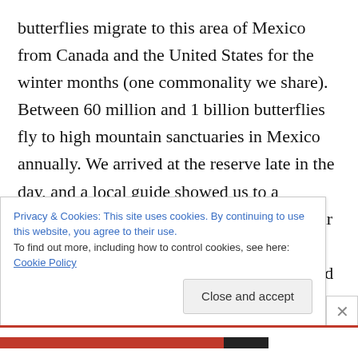butterflies migrate to this area of Mexico from Canada and the United States for the winter months (one commonality we share).  Between 60 million and 1 billion butterflies fly to high mountain sanctuaries in Mexico annually.  We arrived at the reserve late in the day, and a local guide showed us to a camping spot on his property where our gear would be safe while we hiked up to see the butterflies the next morning.  His sons helped us make camp and daylight provided an opportunity for more frisbee fun.  A campfire provided warmth for dinner and we were tucked away in our tent soon after in anticipation for a sunrise
Privacy & Cookies: This site uses cookies. By continuing to use this website, you agree to their use.
To find out more, including how to control cookies, see here: Cookie Policy
Close and accept